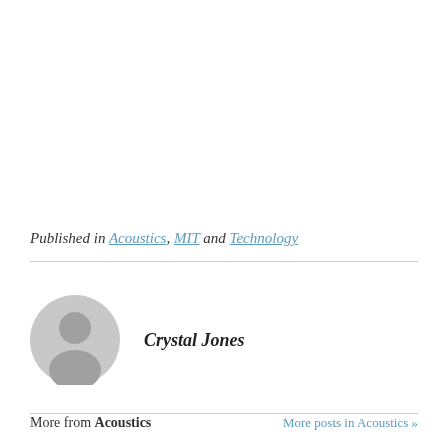Published in Acoustics, MIT and Technology
[Figure (illustration): Gray circular avatar placeholder showing a generic person silhouette]
Crystal Jones
More from Acoustics
More posts in Acoustics »